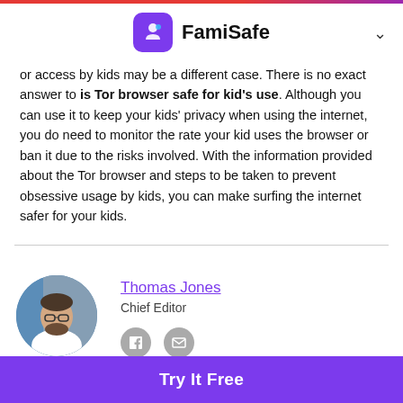FamiSafe
or access by kids may be a different case. There is no exact answer to is Tor browser safe for kid's use. Although you can use it to keep your kids' privacy when using the internet, you do need to monitor the rate your kid uses the browser or ban it due to the risks involved. With the information provided about the Tor browser and steps to be taken to prevent obsessive usage by kids, you can make surfing the internet safer for your kids.
[Figure (photo): Circular profile photo of Thomas Jones, Chief Editor — a man with beard and glasses wearing a white t-shirt, against a blue background]
Thomas Jones
Chief Editor